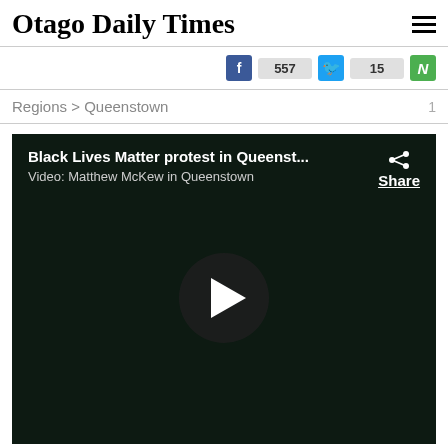Otago Daily Times
Facebook: 557  Twitter: 15  Newshub
Regions > Queenstown  1
[Figure (screenshot): Video player with dark background showing 'Black Lives Matter protest in Queenst...' title, byline 'Video: Matthew McKew in Queenstown', a share button, and a large circular play button in the center.]